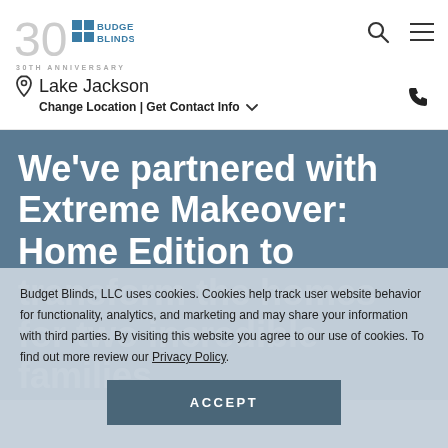Budget Blinds — 30TH ANNIVERSARY
Lake Jackson
Change Location | Get Contact Info
We've partnered with Extreme Makeover: Home Edition to transform the homes for two incredible families
Budget Blinds, LLC uses cookies. Cookies help track user website behavior for functionality, analytics, and marketing and may share your information with third parties. By visiting this website you agree to our use of cookies. To find out more review our Privacy Policy.
ACCEPT